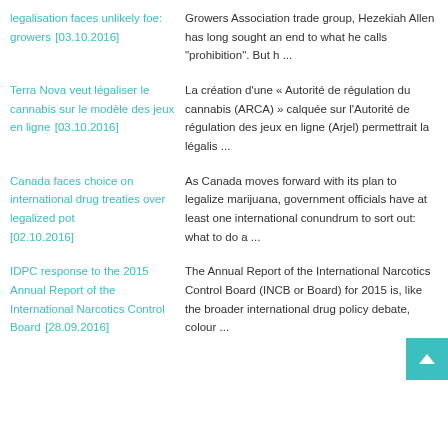legalisation faces unlikely foe: growers [03.10.2016] | Growers Association trade group, Hezekiah Allen has long sought an end to what he calls "prohibition". But h ...
Terra Nova veut légaliser le cannabis sur le modèle des jeux en ligne [03.10.2016] | La création d'une « Autorité de régulation du cannabis (ARCA) » calquée sur l'Autorité de régulation des jeux en ligne (Arjel) permettrait la légalis ...
Canada faces choice on international drug treaties over legalized pot [02.10.2016] | As Canada moves forward with its plan to legalize marijuana, government officials have at least one international conundrum to sort out: what to do a ...
IDPC response to the 2015 Annual Report of the International Narcotics Control Board [28.09.2016] | The Annual Report of the International Narcotics Control Board (INCB or Board) for 2015 is, like the broader international drug policy debate, colour ...